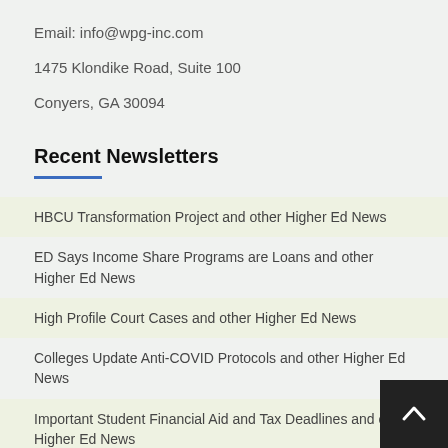Email: info@wpg-inc.com
1475 Klondike Road, Suite 100
Conyers, GA 30094
Recent Newsletters
HBCU Transformation Project and other Higher Ed News
ED Says Income Share Programs are Loans and other Higher Ed News
High Profile Court Cases and other Higher Ed News
Colleges Update Anti-COVID Protocols and other Higher Ed News
Important Student Financial Aid and Tax Deadlines and other Higher Ed News